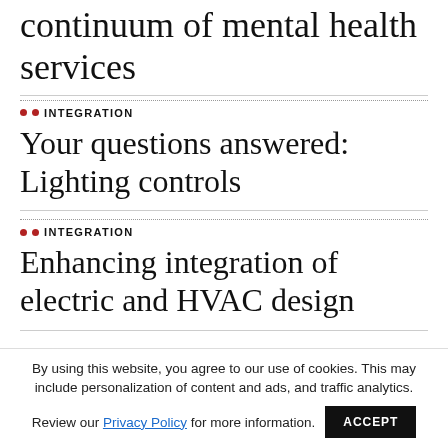continuum of mental health services
INTEGRATION
Your questions answered: Lighting controls
INTEGRATION
Enhancing integration of electric and HVAC design
By using this website, you agree to our use of cookies. This may include personalization of content and ads, and traffic analytics. Review our Privacy Policy for more information.